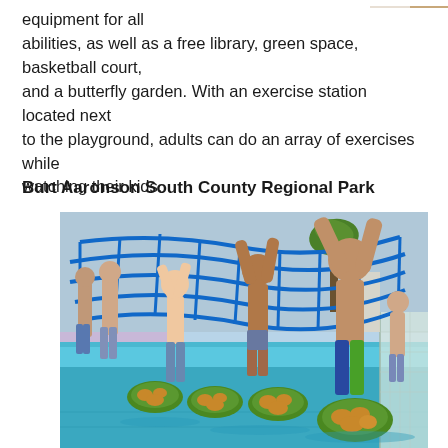[Figure (photo): Partial photo of playground equipment visible at top right corner of page]
equipment for all abilities, as well as a free library, green space, basketball court, and a butterfly garden. With an exercise station located next to the playground, adults can do an array of exercises while watching their kids.
Burt Aaronson South County Regional Park
[Figure (photo): Children playing at a water park attraction, jumping on lily pad stepping stones in a pool while holding onto a blue rope net overhead. Colorful background with palm trees and blue pool water.]